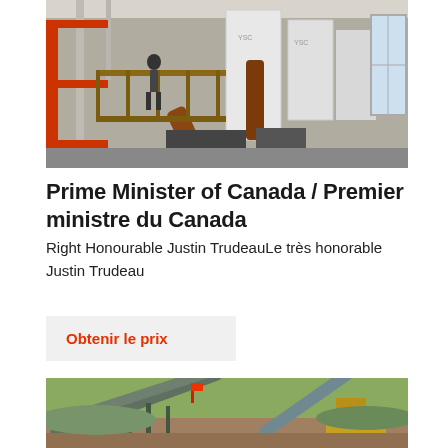[Figure (photo): Interior of an industrial facility showing large tanks, pipes, wooden scaffolding, and a person standing on a mezzanine level]
Prime Minister of Canada / Premier ministre du Canada
Right Honourable Justin TrudeauLe très honorable Justin Trudeau
Obtenir le prix
[Figure (photo): Outdoor mining/quarry site with conveyor belts, industrial machinery, and yellow equipment against a dirt/gravel landscape]